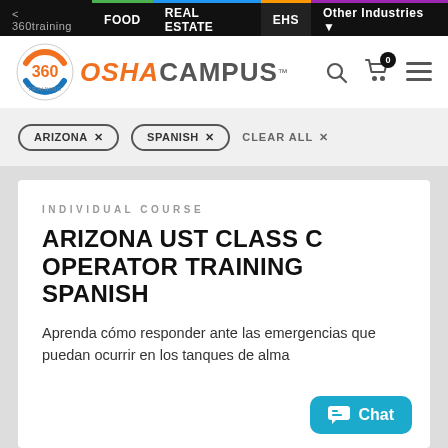< 360training | FOOD | REAL ESTATE | EHS | Other Industries
[Figure (logo): 360 OSHA Campus logo with search, cart, and menu icons]
ARIZONA × | SPANISH × | CLEAR ALL ×
INDIVIDUAL COURSE
ARIZONA UST CLASS C OPERATOR TRAINING SPANISH
Aprenda cómo responder ante las emergencias que puedan ocurrir en los tanques de alma
[Figure (screenshot): Chat button (teal) in bottom right of card]